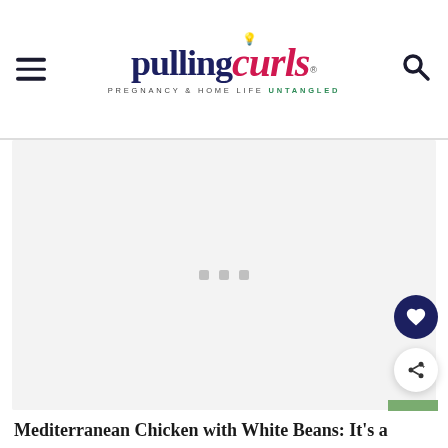pulling curls — PREGNANCY & HOME LIFE UNTANGLED
[Figure (photo): Large light gray placeholder image area with three small square loading dots in the center. Floating UI buttons on the right side: a dark navy heart/save button, a white share button with share icon, and a green bookmark/save button.]
Mediterranean Chicken with White Beans: It's a